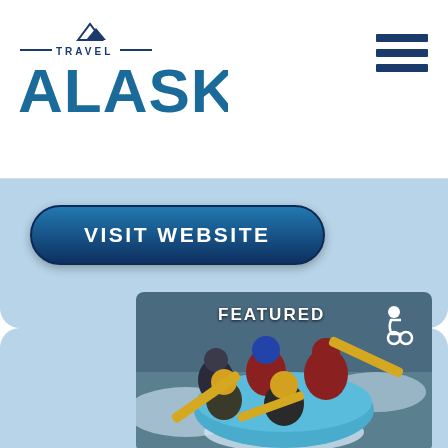[Figure (logo): Travel Alaska logo with mountain icon above, horizontal lines flanking TRAVEL text, and large ALASKA text below in blue]
[Figure (illustration): Hamburger menu icon with three dark blue horizontal bars]
[Figure (other): VISIT WEBSITE button in dark blue gradient with rounded pill shape on light blue background]
[Figure (photo): Group of people white water rafting in a blue inflatable raft with yellow paddles, wearing helmets and life jackets. FEATURED label and wheelchair accessibility icon overlaid on photo.]